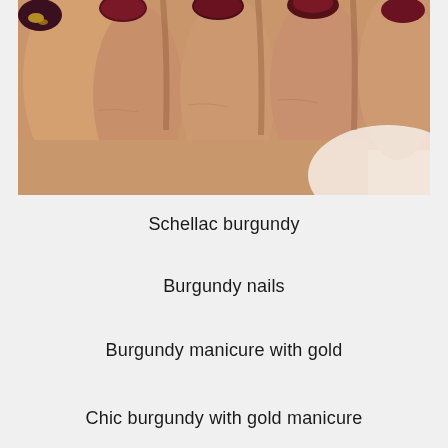[Figure (photo): Close-up photo of a hand with burgundy and dark nail polish, one nail featuring gold foil decoration. The nails are short and rounded, painted in deep burgundy/wine shades with a gradient or ombre effect.]
Schellac burgundy
Burgundy nails
Burgundy manicure with gold
Chic burgundy with gold manicure